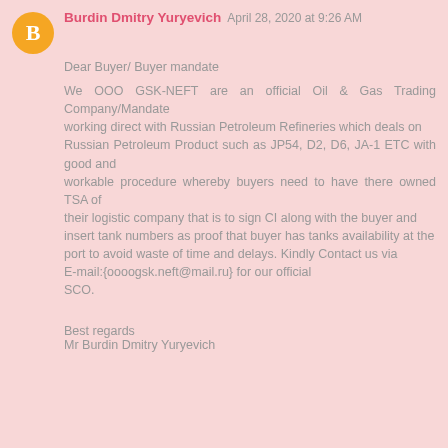Burdin Dmitry Yuryevich April 28, 2020 at 9:26 AM
Dear Buyer/ Buyer mandate

We OOO GSK-NEFT are an official Oil & Gas Trading Company/Mandate
working direct with Russian Petroleum Refineries which deals on
Russian Petroleum Product such as JP54, D2, D6, JA-1 ETC with good and
workable procedure whereby buyers need to have there owned TSA of
their logistic company that is to sign CI along with the buyer and
insert tank numbers as proof that buyer has tanks availability at the
port to avoid waste of time and delays. Kindly Contact us via
E-mail:{oooogsk.neft@mail.ru} for our official
SCO.

Best regards
Mr Burdin Dmitry Yuryevich